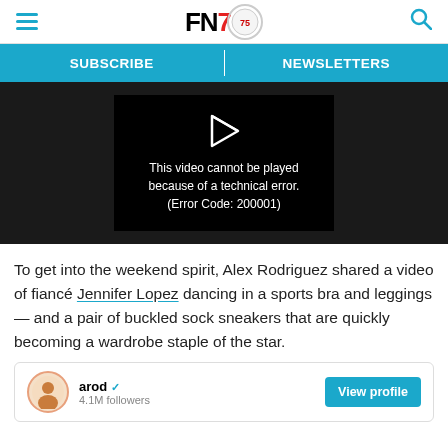FN7 - Footwear News header with hamburger menu and search icon
SUBSCRIBE | NEWSLETTERS
[Figure (screenshot): Video player showing error: This video cannot be played because of a technical error. (Error Code: 200001)]
To get into the weekend spirit, Alex Rodriguez shared a video of fiancé Jennifer Lopez dancing in a sports bra and leggings — and a pair of buckled sock sneakers that are quickly becoming a wardrobe staple of the star.
arod ✓ — social media embed with View profile button